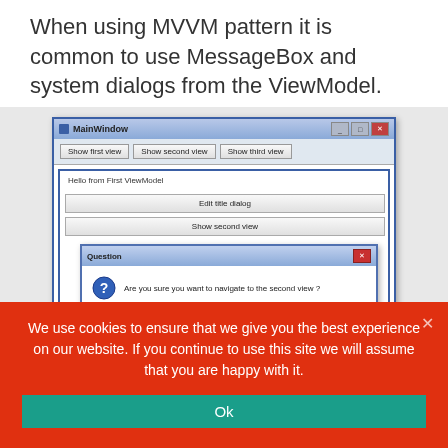When using MVVM pattern it is common to use MessageBox and system dialogs from the ViewModel.
[Figure (screenshot): A Windows application screenshot showing MainWindow with three toolbar buttons (Show first view, Show second view, Show third view), content area with 'Hello from First ViewModel' text, two buttons (Edit title dialog, Show second view), and an open Question dialog asking 'Are you sure you want to navigate to the second view?' with Si and No buttons.]
The easiest method to use them is to call
We use cookies to ensure that we give you the best experience on our website. If you continue to use this site we will assume that you are happy with it.
Ok